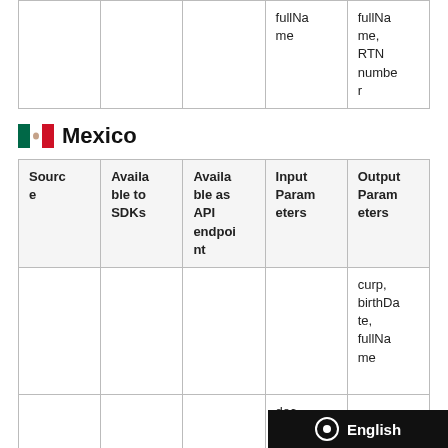| Source | Available to SDKs | Available as API endpoint | Input Parameters | Output Parameters |
| --- | --- | --- | --- | --- |
|  |  |  | fullName | fullName, RTN number |
🇲🇽 Mexico
| Source | Available to SDKs | Available as API endpoint | Input Parameters | Output Parameters |
| --- | --- | --- | --- | --- |
|  |  |  |  | curp, birthDate, fullName |
|  |  |  | doc |  |